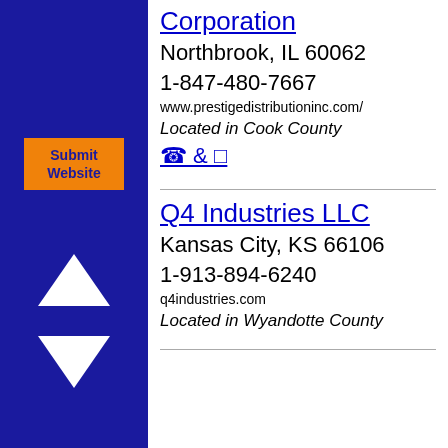Corporation
Northbrook, IL 60062
1-847-480-7667
www.prestigedistributioninc.com/
Located in Cook County
☎ & ☐
Q4 Industries LLC
Kansas City, KS 66106
1-913-894-6240
q4industries.com
Located in Wyandotte County